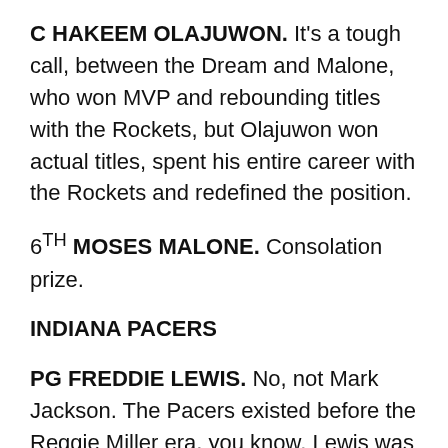C HAKEEM OLAJUWON. It's a tough call, between the Dream and Malone, who won MVP and rebounding titles with the Rockets, but Olajuwon won actual titles, spent his entire career with the Rockets and redefined the position.
6TH MOSES MALONE. Consolation prize.
INDIANA PACERS
PG FREDDIE LEWIS. No, not Mark Jackson. The Pacers existed before the Reggie Miller era, you know. Lewis was a scoring threat and on-court leader as a mainstay of the team that writer Terry Pluto called, “The Boston Celtics of the ABA.”
SG REGGIE MILLER. I tend to think Miller was a little overrated. He was a streaky shooter who happened to hit some of his biggest shots when the lights were brightest.